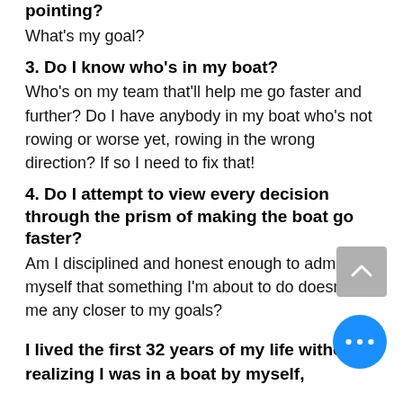2. Do I know which way the boat is pointing?
What's my goal?
3. Do I know who's in my boat?
Who's on my team that'll help me go faster and further? Do I have anybody in my boat who's not rowing or worse yet, rowing in the wrong direction? If so I need to fix that!
4. Do I attempt to view every decision through the prism of making the boat go faster?
Am I disciplined and honest enough to admit to myself that something I'm about to do doesn't get me any closer to my goals?
I lived the first 32 years of my life without realizing I was in a boat by myself,